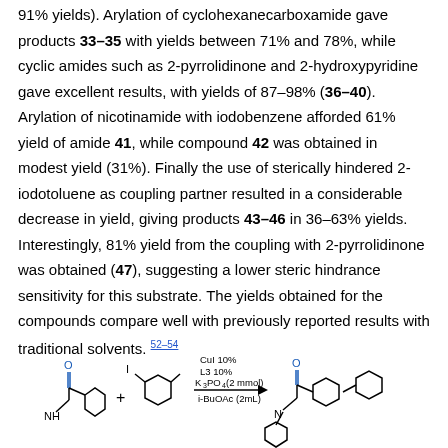91% yields). Arylation of cyclohexanecarboxamide gave products 33–35 with yields between 71% and 78%, while cyclic amides such as 2-pyrrolidinone and 2-hydroxypyridine gave excellent results, with yields of 87–98% (36–40). Arylation of nicotinamide with iodobenzene afforded 61% yield of amide 41, while compound 42 was obtained in modest yield (31%). Finally the use of sterically hindered 2-iodotoluene as coupling partner resulted in a considerable decrease in yield, giving products 43–46 in 36–63% yields. Interestingly, 81% yield from the coupling with 2-pyrrolidinone was obtained (47), suggesting a lower steric hindrance sensitivity for this substrate. The yields obtained for the compounds compare well with previously reported results with traditional solvents. 52–54
[Figure (schematic): Chemical reaction scheme showing amide starting material plus iodotoluene reacting with CuI 10%, L3 10%, K3PO4 (2 mmol), i-BuOAc (2mL) to give arylated amide product.]